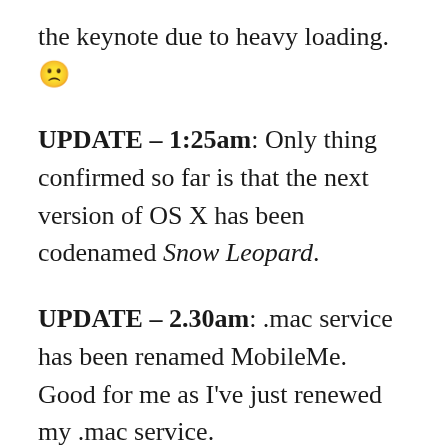the keynote due to heavy loading. 🙁
UPDATE – 1:25am: Only thing confirmed so far is that the next version of OS X has been codenamed Snow Leopard.
UPDATE – 2.30am: .mac service has been renamed MobileMe. Good for me as I've just renewed my .mac service.
UPDATE – 2.33am: Steve Jobs just announced a 3G iPhone. And the 8GB 3G iPhone will be going for US$199 with the 16GB version will be going for US$299. You choose either white